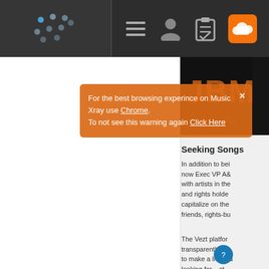[Figure (screenshot): Top navigation bar of Music Xray website with dark background. Contains a dotted logo on the left, hamburger menu icon, user profile icon, clipboard icon, and SoundCloud orange icon.]
[Figure (screenshot): Orange popup notification overlay reading: 'For the best browsing experince on Music Xray use Chrome. To not see this warning again Click Here' with a close X button.]
[Figure (photo): JBM (Jeff Blue Music) logo image in black background with orange/gold text.]
Seeking Songs
In addition to bei... now Exec VP A&... with artists in the... and rights holde... capitalize on the... friends, rights-bu...
The Vezt platfor... transparently. Ve... to make a living a... looking for ... ct... any genre. We a...